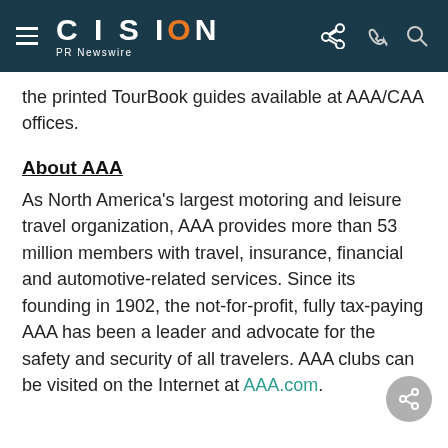CISION PR Newswire
the printed TourBook guides available at AAA/CAA offices.
About AAA
As North America's largest motoring and leisure travel organization, AAA provides more than 53 million members with travel, insurance, financial and automotive-related services. Since its founding in 1902, the not-for-profit, fully tax-paying AAA has been a leader and advocate for the safety and security of all travelers. AAA clubs can be visited on the Internet at AAA.com.